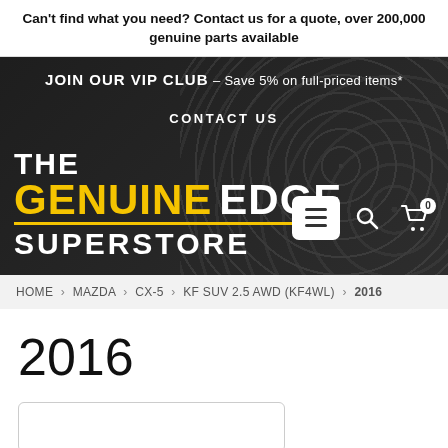Can't find what you need? Contact us for a quote, over 200,000 genuine parts available
[Figure (screenshot): Hero banner for The Genuine Edge Superstore website with dark background showing automotive parts. Contains VIP club promotion text, CONTACT US link, logo with THE GENUINE EDGE SUPERSTORE, and navigation icons (hamburger menu, search, cart with 0 badge).]
HOME › MAZDA › CX-5 › KF SUV 2.5 AWD (KF4WL) › 2016
2016
[Figure (other): Empty search/filter box with rounded border, partially visible at bottom of page]